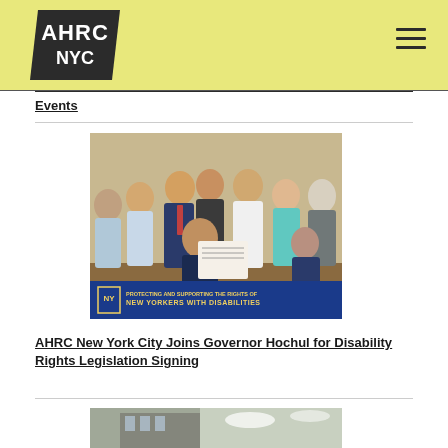[Figure (logo): AHRC NYC logo — black parallelogram with white text showing AHRC on top and NYC below]
≡ (hamburger menu icon)
Events
[Figure (photo): Group photo of officials gathered around Governor Hochul who is seated and holding a signed document. A blue banner in front reads PROTECTING AND SUPPORTING THE RIGHTS OF NEW YORKERS WITH DISABILITIES.]
AHRC New York City Joins Governor Hochul for Disability Rights Legislation Signing
[Figure (photo): Partial view of a building exterior with sky in background.]